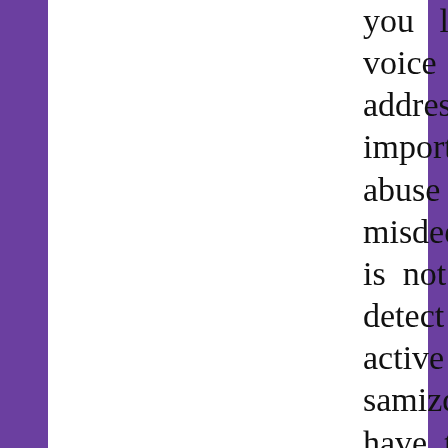you lo. voice pu address important abuse and misdeeds. is not di detect active or samizdat have that in mind. possible m not going the more one, aki